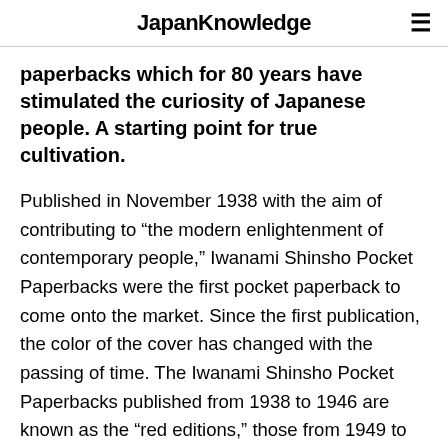JapanKnowledge
paperbacks which for 80 years have stimulated the curiosity of Japanese people. A starting point for true cultivation.
Published in November 1938 with the aim of contributing to “the modern enlightenment of contemporary people,” Iwanami Shinsho Pocket Paperbacks were the first pocket paperback to come onto the market. Since the first publication, the color of the cover has changed with the passing of time. The Iwanami Shinsho Pocket Paperbacks published from 1938 to 1946 are known as the “red editions,” those from 1949 to 1977 as the “blue editions,” those from 1977 to 1987 as the “yellow editions,” and those from 1988 to the present day as the “new red editions.” Thus